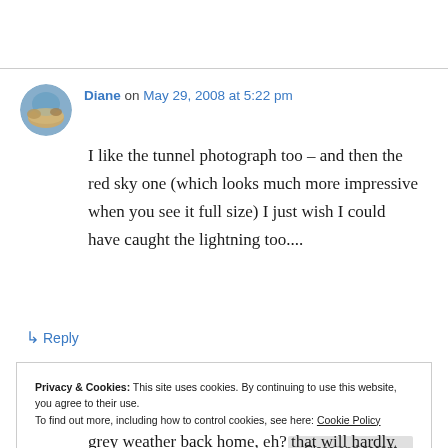[Figure (photo): Circular avatar photo of Diane, showing a landscape with blue sky]
Diane on May 29, 2008 at 5:22 pm
I like the tunnel photograph too – and then the red sky one (which looks much more impressive when you see it full size) I just wish I could have caught the lightning too....
↳ Reply
Privacy & Cookies: This site uses cookies. By continuing to use this website, you agree to their use.
To find out more, including how to control cookies, see here: Cookie Policy
Close and accept
grey weather back home, eh? that will hardly